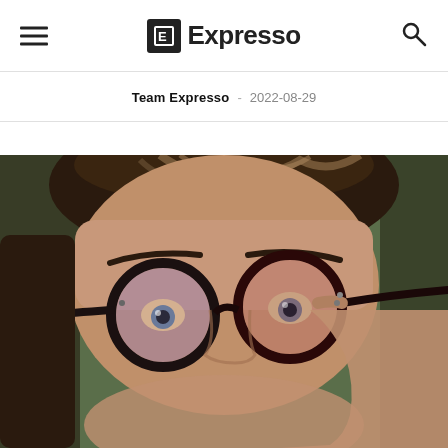Expresso
Team Expresso - 2022-08-29
[Figure (photo): Close-up photo of a man with dark hair wearing round black-rimmed glasses with tinted lenses, touching the glasses frame with his right hand. The background is blurred and appears greenish/dark.]